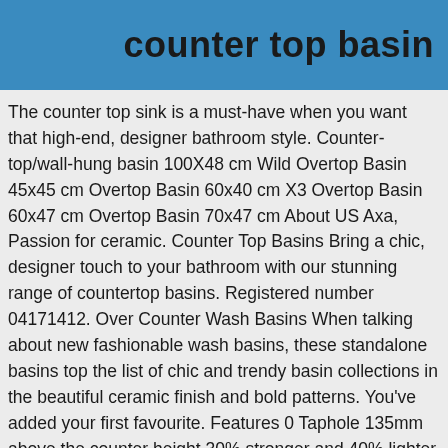counter top basin
The counter top sink is a must-have when you want that high-end, designer bathroom style. Counter-top/wall-hung basin 100X48 cm Wild Overtop Basin 45x45 cm Overtop Basin 60x40 cm X3 Overtop Basin 60x47 cm Overtop Basin 70x47 cm About US Axa, Passion for ceramic. Counter Top Basins Bring a chic, designer touch to your bathroom with our stunning range of countertop basins. Registered number 04171412. Over Counter Wash Basins When talking about new fashionable wash basins, these standalone basins top the list of chic and trendy basin collections in the beautiful ceramic finish and bold patterns. You've added your first favourite. Features 0 Taphole 135mm above the counter height 30% stronger and 40% lighter than conventional basins of a similar size 350mm diameter Benchtop mounting permits wall or bench-top tapware fitting Capacity 5.2L